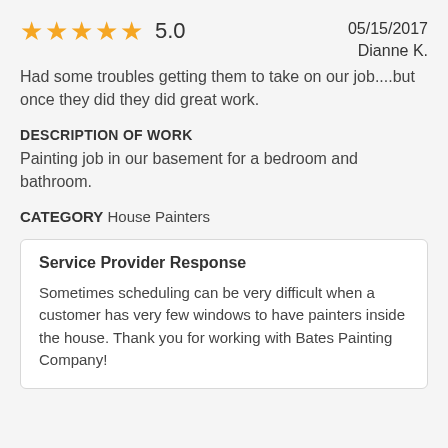★★★★★ 5.0   05/15/2017
Dianne K.
Had some troubles getting them to take on our job....but once they did they did great work.
DESCRIPTION OF WORK
Painting job in our basement for a bedroom and bathroom.
CATEGORY House Painters
Service Provider Response
Sometimes scheduling can be very difficult when a customer has very few windows to have painters inside the house. Thank you for working with Bates Painting Company!